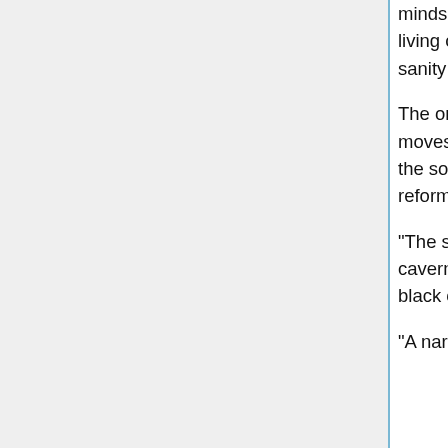minds and will shape itself to be a "shadow" of something familiar to a living creature, thus tricking it into being attacked. It causes a mild loss of sanity and will drain constitution when it strikes a character.
The onyx ooze always returns to the "soda fountain" to be cleansed. It moves up the passage and into the treasure pool. Gravity pulls it through the soda straws removing debris. Once into the room below, the ooze will reform and go out on its cleaning task.
"The sound of dripping can be heard coming from the ceiling of this cavern. Thousands of narrow soda straw formations are dripping with a black ooze that is puddling on the floor."
"A narrow passage leads up to a narrow